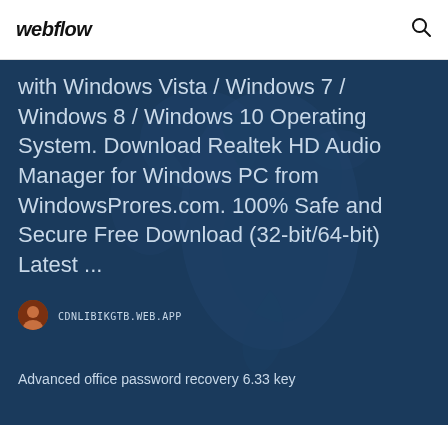webflow
with Windows Vista / Windows 7 / Windows 8 / Windows 10 Operating System. Download Realtek HD Audio Manager for Windows PC from WindowsProres.com. 100% Safe and Secure Free Download (32-bit/64-bit) Latest ...
CDNLIBIKGTB.WEB.APP
Advanced office password recovery 6.33 key